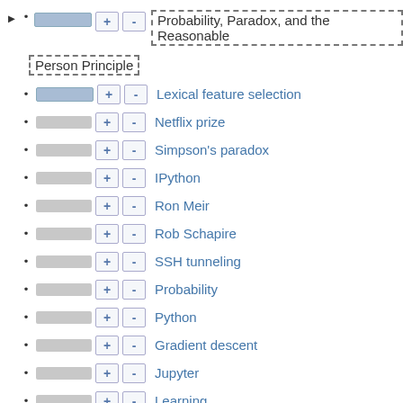Probability, Paradox, and the Reasonable Person Principle
Lexical feature selection
Netflix prize
Simpson's paradox
IPython
Ron Meir
Rob Schapire
SSH tunneling
Probability
Python
Gradient descent
Jupyter
Learning
Future of work
Cross entropy
David Edl...